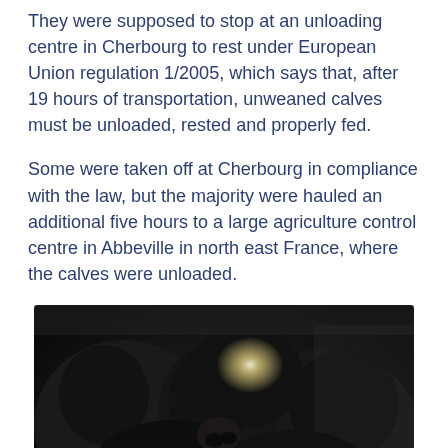They were supposed to stop at an unloading centre in Cherbourg to rest under European Union regulation 1/2005, which says that, after 19 hours of transportation, unweaned calves must be unloaded, rested and properly fed.
Some were taken off at Cherbourg in compliance with the law, but the majority were hauled an additional five hours to a large agriculture control centre in Abbeville in north east France, where the calves were unloaded.
[Figure (photo): A dark photograph showing black calves crowded together, likely inside a transport vehicle or holding area. A bright light source is visible in the background. One calf has a yellow ear tag visible.]